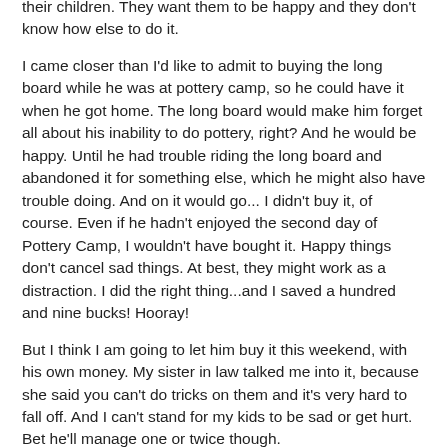their children. They want them to be happy and they don't know how else to do it.
I came closer than I'd like to admit to buying the long board while he was at pottery camp, so he could have it when he got home. The long board would make him forget all about his inability to do pottery, right? And he would be happy. Until he had trouble riding the long board and abandoned it for something else, which he might also have trouble doing. And on it would go... I didn't buy it, of course. Even if he hadn't enjoyed the second day of Pottery Camp, I wouldn't have bought it. Happy things don't cancel sad things. At best, they might work as a distraction. I did the right thing...and I saved a hundred and nine bucks! Hooray!
But I think I am going to let him buy it this weekend, with his own money. My sister in law talked me into it, because she said you can't do tricks on them and it's very hard to fall off. And I can't stand for my kids to be sad or get hurt. Bet he'll manage one or twice though.
Namasté, y'all!